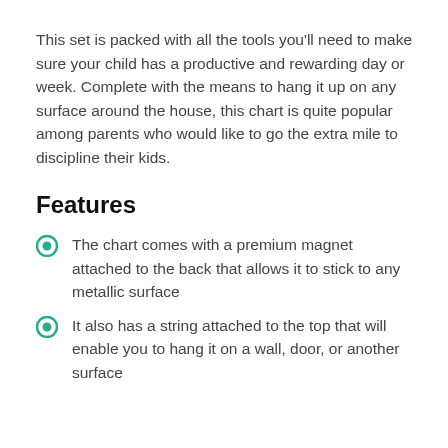This set is packed with all the tools you'll need to make sure your child has a productive and rewarding day or week. Complete with the means to hang it up on any surface around the house, this chart is quite popular among parents who would like to go the extra mile to discipline their kids.
Features
The chart comes with a premium magnet attached to the back that allows it to stick to any metallic surface
It also has a string attached to the top that will enable you to hang it on a wall, door, or another surface